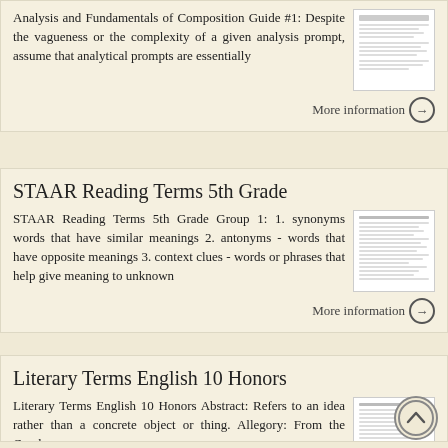Analysis and Fundamentals of Composition Guide #1: Despite the vagueness or the complexity of a given analysis prompt, assume that analytical prompts are essentially
More information →
STAAR Reading Terms 5th Grade
STAAR Reading Terms 5th Grade Group 1: 1. synonyms words that have similar meanings 2. antonyms - words that have opposite meanings 3. context clues - words or phrases that help give meaning to unknown
More information →
Literary Terms English 10 Honors
Literary Terms English 10 Honors Abstract: Refers to an idea rather than a concrete object or thing. Allegory: From the Greek